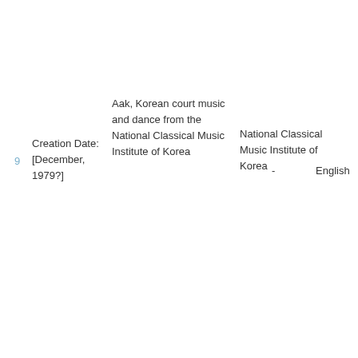9
Creation Date: [December, 1979?]
Aak, Korean court music and dance from the National Classical Music Institute of Korea
National Classical Music Institute of Korea
-
English